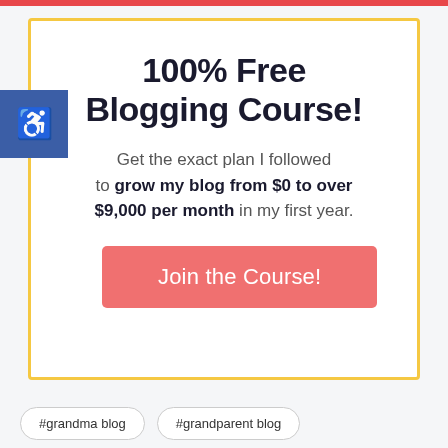100% Free Blogging Course!
Get the exact plan I followed to grow my blog from $0 to over $9,000 per month in my first year.
Join the Course!
#grandma blog
#grandparent blog